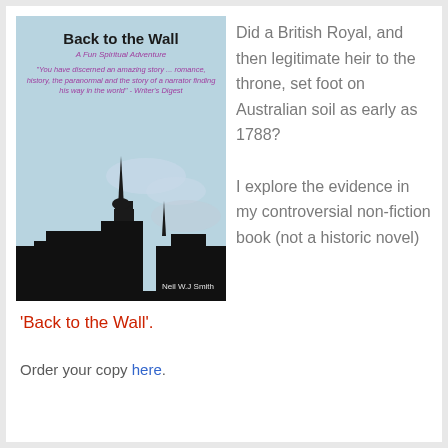[Figure (illustration): Book cover of 'Back to the Wall: A Fun Spiritual Adventure' by Neil W.J. Smith, showing a city skyline silhouette in black against a light blue/grey sky, with a church spire prominent. Cover includes a quote from Writer's Digest and subtitle text in purple italic.]
Did a British Royal, and then legitimate heir to the throne, set foot on Australian soil as early as 1788?

I explore the evidence in my controversial non-fiction book (not a historic novel)
'Back to the Wall'.
Order your copy here.